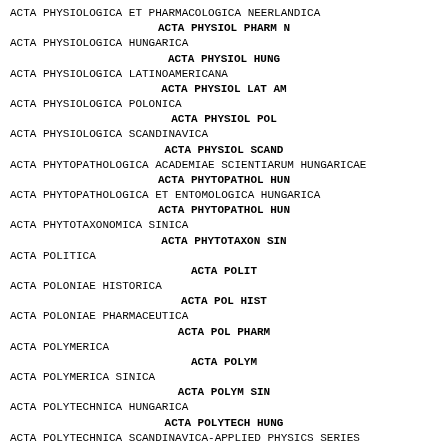ACTA PHYSIOLOGICA ET PHARMACOLOGICA NEERLANDICA
ACTA PHYSIOL PHARM N
ACTA PHYSIOLOGICA HUNGARICA
ACTA PHYSIOL HUNG
ACTA PHYSIOLOGICA LATINOAMERICANA
ACTA PHYSIOL LAT AM
ACTA PHYSIOLOGICA POLONICA
ACTA PHYSIOL POL
ACTA PHYSIOLOGICA SCANDINAVICA
ACTA PHYSIOL SCAND
ACTA PHYTOPATHOLOGICA ACADEMIAE SCIENTIARUM HUNGARICAE
ACTA PHYTOPATHOL HUN
ACTA PHYTOPATHOLOGICA ET ENTOMOLOGICA HUNGARICA
ACTA PHYTOPATHOL HUN
ACTA PHYTOTAXONOMICA SINICA
ACTA PHYTOTAXON SIN
ACTA POLITICA
ACTA POLIT
ACTA POLONIAE HISTORICA
ACTA POL HIST
ACTA POLONIAE PHARMACEUTICA
ACTA POL PHARM
ACTA POLYMERICA
ACTA POLYM
ACTA POLYMERICA SINICA
ACTA POLYM SIN
ACTA POLYTECHNICA HUNGARICA
ACTA POLYTECH HUNG
ACTA POLYTECHNICA SCANDINAVICA-APPLIED PHYSICS SERIES
ACTA POLYTECH SC AP